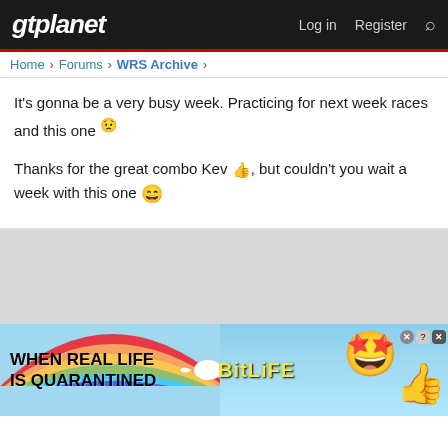gtplanet — Log in  Register
Home > Forums > WRS Archive >
It's gonna be a very busy week. Practicing for next week races and this one 😟

Thanks for the great combo Kev 👍, but couldn't you wait a week with this one 😄
[Figure (screenshot): Advertisement banner: 'WHEN REAL LIFE IS QUARANTINED' with BitLife branding, rainbow background, emoji characters, and close button]